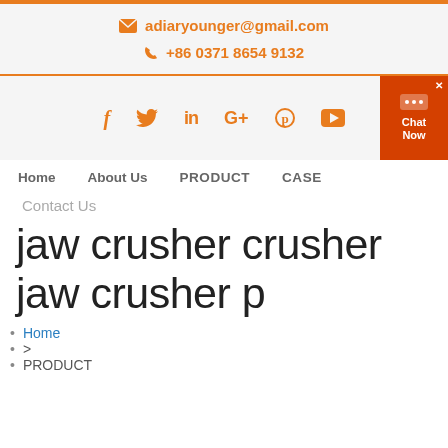✉ adiaryounger@gmail.com  ✆ +86 0371 8654 9132
[Figure (other): Social media icons bar: facebook, twitter, linkedin, google+, pinterest, youtube. Chat Now button overlay on right.]
Home   About Us   PRODUCT   CASE   Contact Us
jaw crusher crusher jaw crusher p
Home
>
PRODUCT